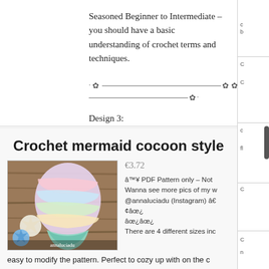Seasoned Beginner to Intermediate – you should have a basic understanding of crochet terms and techniques.
[Figure (illustration): Decorative ornamental divider with flower/asterisk symbols and dashes]
Design 3:
Crochet mermaid cocoon style
[Figure (photo): Photo of a crochet mermaid cocoon/tail in pastel rainbow colors with starfish decorations on a wooden surface]
€3.72
✿ PDF Pattern only – Not Wanna see more pics of my w @annaluciadu (Instagram) â€ ¢âœ¿ âœ¿âœ¿ There are 4 different sizes inc easy to modify the pattern. Perfect to cozy up with on the c